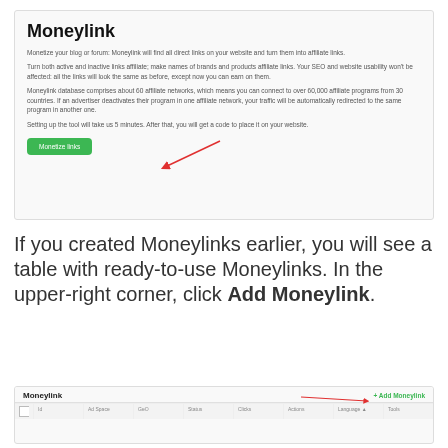[Figure (screenshot): Screenshot of Moneylink product page showing title 'Moneylink', descriptive text paragraphs, and a green 'Monetize links' button with a red arrow pointing to it.]
If you created Moneylinks earlier, you will see a table with ready-to-use Moneylinks. In the upper-right corner, click Add Moneylink.
[Figure (screenshot): Screenshot of Moneylink table interface showing 'Moneylink' heading, a red arrow pointing to '+ Add Moneylink' button in the upper-right corner, and a table header row with columns: checkbox, Id, Ad Space, GeO, Status, Clicks, Actions, Language, Tools.]